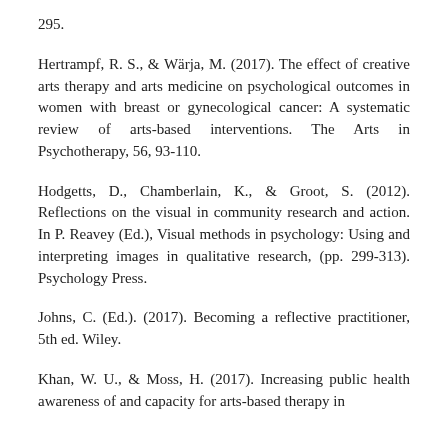295.
Hertrampf, R. S., & Wärja, M. (2017). The effect of creative arts therapy and arts medicine on psychological outcomes in women with breast or gynecological cancer: A systematic review of arts-based interventions. The Arts in Psychotherapy, 56, 93-110.
Hodgetts, D., Chamberlain, K., & Groot, S. (2012). Reflections on the visual in community research and action. In P. Reavey (Ed.), Visual methods in psychology: Using and interpreting images in qualitative research, (pp. 299-313). Psychology Press.
Johns, C. (Ed.). (2017). Becoming a reflective practitioner, 5th ed. Wiley.
Khan, W. U., & Moss, H. (2017). Increasing public health awareness of and capacity for arts-based therapy in